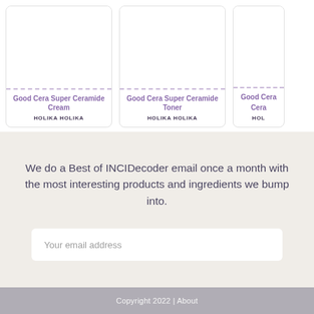[Figure (screenshot): Product card: Good Cera Super Ceramide Cream by Holika Holika]
Good Cera Super Ceramide Cream
HOLIKA HOLIKA
[Figure (screenshot): Product card: Good Cera Super Ceramide Toner by Holika Holika]
Good Cera Super Ceramide Toner
HOLIKA HOLIKA
[Figure (screenshot): Product card: Good Cera (partial, text cut off) by Holika Holika]
Good Cera...
HOL...
We do a Best of INCIDecoder email once a month with the most interesting products and ingredients we bump into.
Your email address
Copyright 2022 | About